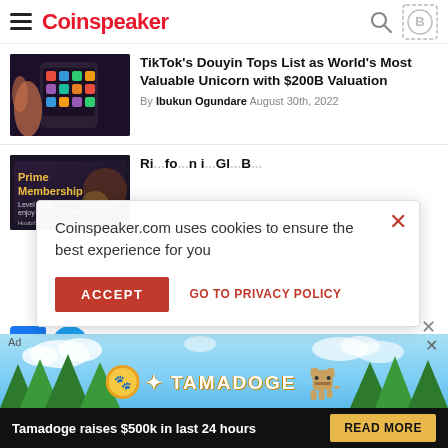Coinspeaker
[Figure (screenshot): Smartphone held in hand showing colorful app icons on dark background]
TikTok's Douyin Tops List as World's Most Valuable Unicorn with $200B Valuation
By Ibukun Ogundare August 30th, 2022
[Figure (illustration): Prime Membership advertisement banner for HuobiGlobal]
Ri... fo... li... Gl... B...
Coinspeaker.com uses cookies to ensure the best experience for you
ACCEPT   GO TO PRIVACY POLICY
[Figure (illustration): Facebook and Twitter social icons]
[Figure (illustration): Tamadoge advertisement banner - Tamadoge raises $500k in last 24 hours - READ MORE]